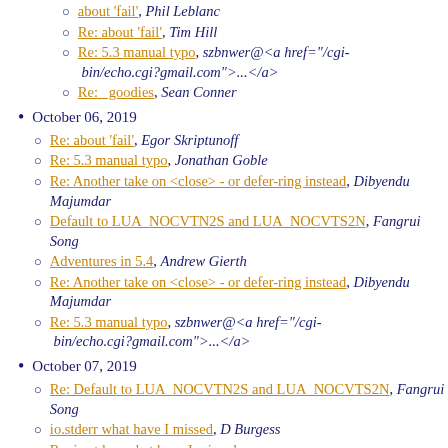about 'fail', Phil Leblanc
Re: about 'fail', Tim Hill
Re: 5.3 manual typo, szbnwer@<a href="/cgi-bin/echo.cgi?gmail.com">...</a>
Re:   goodies, Sean Conner
October 06, 2019
Re: about 'fail', Egor Skriptunoff
Re: 5.3 manual typo, Jonathan Goble
Re: Another take on <close> - or defer-ring instead, Dibyendu Majumdar
Default to LUA_NOCVTN2S and LUA_NOCVTS2N, Fangrui Song
Adventures in 5.4, Andrew Gierth
Re: Another take on <close> - or defer-ring instead, Dibyendu Majumdar
Re: 5.3 manual typo, szbnwer@<a href="/cgi-bin/echo.cgi?gmail.com">...</a>
October 07, 2019
Re: Default to LUA_NOCVTN2S and LUA_NOCVTS2N, Fangrui Song
io.stderr what have I missed, D Burgess
Re: io.stderr what have I missed, v
Re:   close: presence and time of evaluation, ...